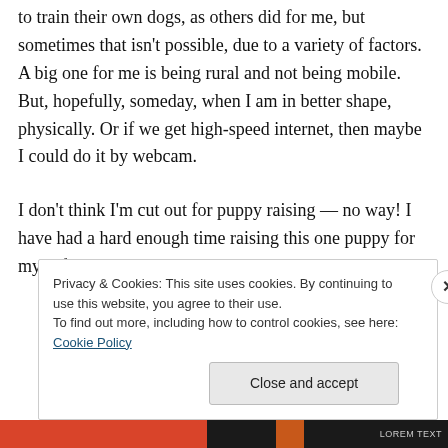to train their own dogs, as others did for me, but sometimes that isn't possible, due to a variety of factors. A big one for me is being rural and not being mobile. But, hopefully, someday, when I am in better shape, physically. Or if we get high-speed internet, then maybe I could do it by webcam.
I don't think I'm cut out for puppy raising — no way! I have had a hard enough time raising this one puppy for myself! I do better with
Privacy & Cookies: This site uses cookies. By continuing to use this website, you agree to their use.
To find out more, including how to control cookies, see here: Cookie Policy